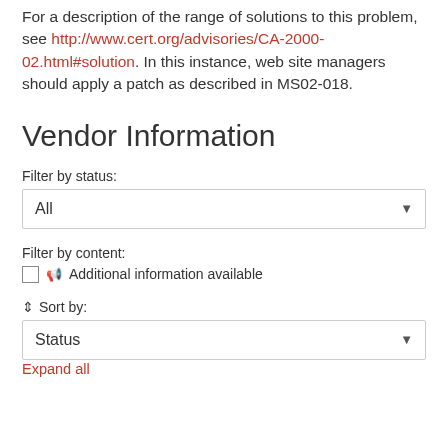For a description of the range of solutions to this problem, see http://www.cert.org/advisories/CA-2000-02.html#solution. In this instance, web site managers should apply a patch as described in MS02-018.
Vendor Information
Filter by status:
All
Filter by content:
Additional information available
Sort by:
Status
Expand all